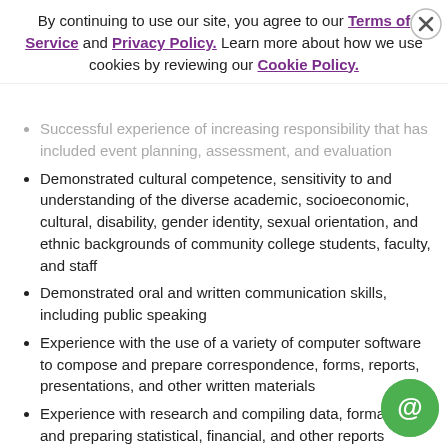By continuing to use our site, you agree to our Terms of Service and Privacy Policy. Learn more about how we use cookies by reviewing our Cookie Policy.
Successful experience of increasing responsibility that has included event planning, assessment, and evaluation
Demonstrated cultural competence, sensitivity to and understanding of the diverse academic, socioeconomic, cultural, disability, gender identity, sexual orientation, and ethnic backgrounds of community college students, faculty, and staff
Demonstrated oral and written communication skills, including public speaking
Experience with the use of a variety of computer software to compose and prepare correspondence, forms, reports, presentations, and other written materials
Experience with research and compiling data, formatting, and preparing statistical, financial, and other reports
Skill in setting up and maintaining online and manual…